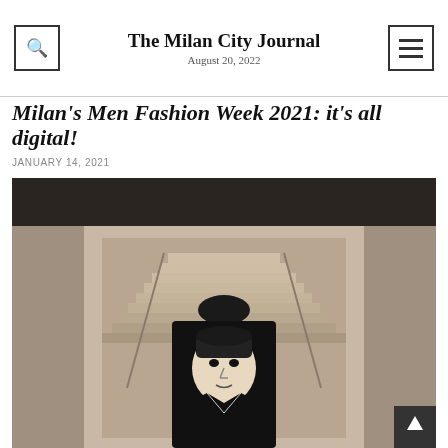The Milan City Journal
August 20, 2022
Milan's Men Fashion Week 2021: it's all digital!
JANUARY 14, 2021
[Figure (photo): A black-and-white fashion photograph showing a garment hanging in a minimalist architectural interior with stone walls and a grand staircase. The garment features a large printed face of a man.]